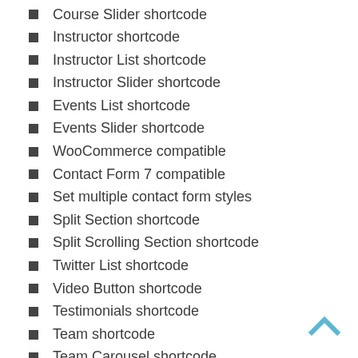Course Slider shortcode
Instructor shortcode
Instructor List shortcode
Instructor Slider shortcode
Events List shortcode
Events Slider shortcode
WooCommerce compatible
Contact Form 7 compatible
Set multiple contact form styles
Split Section shortcode
Split Scrolling Section shortcode
Twitter List shortcode
Video Button shortcode
Testimonials shortcode
Team shortcode
Team Carousel shortcode
Team List shortcode
Team Slider shortcode
Various infographic elements
Pricing Table shortcode
Clients Carousel shortcode
Call to Action shortcode